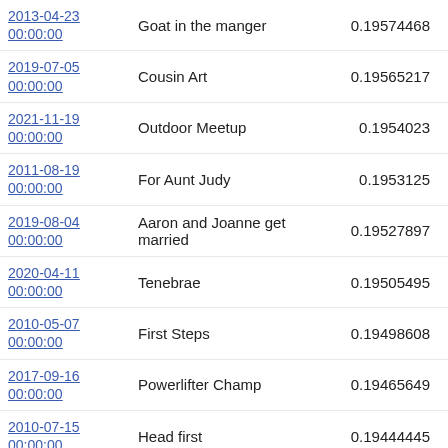| Date | Name | Score |
| --- | --- | --- |
| 2013-04-23 00:00:00 | Goat in the manger | 0.19574468 |
| 2019-07-05 00:00:00 | Cousin Art | 0.19565217 |
| 2021-11-19 00:00:00 | Outdoor Meetup | 0.1954023 |
| 2011-08-19 00:00:00 | For Aunt Judy | 0.1953125 |
| 2019-08-04 00:00:00 | Aaron and Joanne get married | 0.19527897 |
| 2020-04-11 00:00:00 | Tenebrae | 0.19505495 |
| 2010-05-07 00:00:00 | First Steps | 0.19498608 |
| 2017-09-16 00:00:00 | Powerlifter Champ | 0.19465649 |
| 2010-07-15 00:00:00 | Head first | 0.19444445 |
| 2019-02-17 00:00:00 | Charlotte and Elizabeth | 0.19444445 |
| 2012-10-17 00:00:00 | Grandma J Birthday | 0.19444445 |
| 2014-02-06 00:00:00 |  |  |